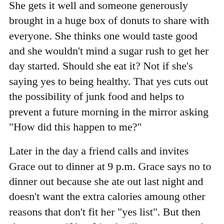She gets it well and someone generously brought in a huge box of donuts to share with everyone. She thinks one would taste good and she wouldn't mind a sugar rush to get her day started. Should she eat it? Not if she's saying yes to being healthy. That yes cuts out the possibility of junk food and helps to prevent a future morning in the mirror asking "How did this happen to me?"
Later in the day a friend calls and invites Grace out to dinner at 9 p.m. Grace says no to dinner out because she ate out last night and doesn't want the extra calories amoung other reasons that don't fit her "yes list". But then she says yes if her friend will come over to her house at 7 instead of 9 so she can have a healthier meal, be with her kids, get to bed early enough to not be tired at work and to live within her "yes list."
Do you get it? The point is that if your yes list has "start my own business" at the top then you say no to anything that doesn't support it like too much television, going to bed late,